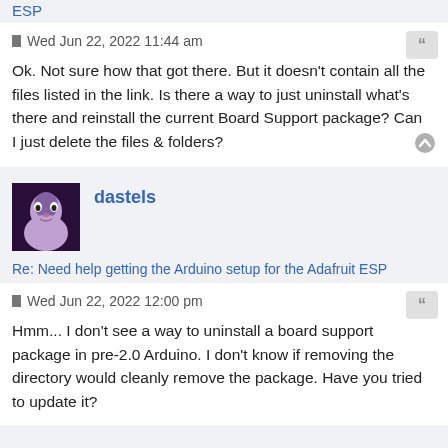ESP
Wed Jun 22, 2022 11:44 am
Ok. Not sure how that got there. But it doesn't contain all the files listed in the link. Is there a way to just uninstall what's there and reinstall the current Board Support package? Can I just delete the files & folders?
dastels
Re: Need help getting the Arduino setup for the Adafruit ESP
Wed Jun 22, 2022 12:00 pm
Hmm... I don't see a way to uninstall a board support package in pre-2.0 Arduino. I don't know if removing the directory would cleanly remove the package. Have you tried to update it?